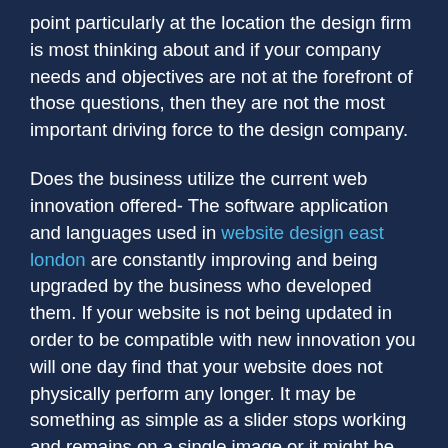point particularly at the location the design firm is most thinking about and if your company needs and objectives are not at the forefront of those questions, then they are not the most important driving force to the design company.
Does the business utilize the current web innovation offered- The software application and languages used in website design east london are constantly improving and being upgraded by the business who developed them. If your website is not being updated in order to be compatible with new innovation you will one day find that your website does not physically perform any longer. It may be something as simple as a slider stops working and remains on a single image or it might be as drastic as your website has actually reorganized itself and is no longer understandable. Even the software individuals use to see your website is constantly altering and being